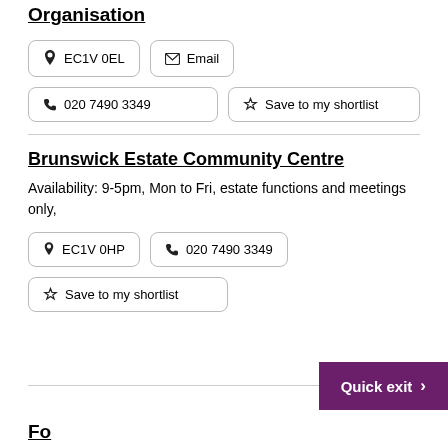Organisation
EC1V 0EL  Email  020 7490 3349  Save to my shortlist
Brunswick Estate Community Centre
Availability: 9-5pm, Mon to Fri, estate functions and meetings only,
EC1V 0HP  020 7490 3349  Save to my shortlist
Quick exit >